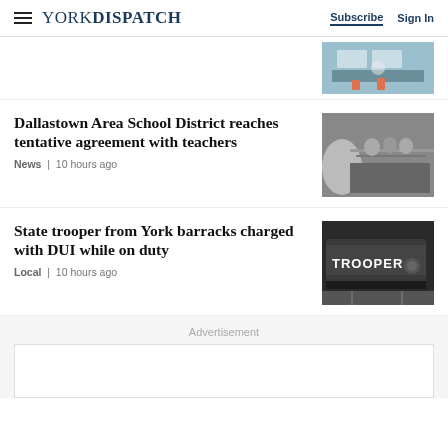YORK DISPATCH | Subscribe  Sign In
[Figure (photo): Partial top image showing people near solar panels]
Dallastown Area School District reaches tentative agreement with teachers
News | 10 hours ago
[Figure (photo): People sitting at a meeting table]
State trooper from York barracks charged with DUI while on duty
Local | 10 hours ago
[Figure (photo): Police vehicle with TROOPER text on side]
Advertisement